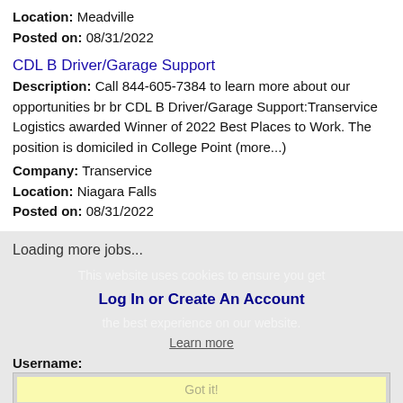Location: Meadville
Posted on: 08/31/2022
CDL B Driver/Garage Support
Description: Call 844-605-7384 to learn more about our opportunities br br CDL B Driver/Garage Support:Transervice Logistics awarded Winner of 2022 Best Places to Work. The position is domiciled in College Point (more...)
Company: Transervice
Location: Niagara Falls
Posted on: 08/31/2022
Loading more jobs...
This website uses cookies to ensure you get the best experience on our website.
Log In or Create An Account
Learn more
Username:
Got it!
Password: